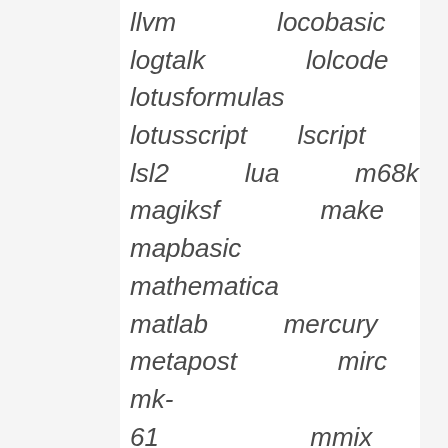llvm locobasic logtalk lolcode lotusformulas lotusscript lscript lsl2 lua m68k magiksf make mapbasic mathematica matlab mercury metapost mirc mk-61 mmix modula2 modula3 mpasm mxml mysql nagios netrexx newlisp nginx nimrod nsis oberon2 objc objeck ocaml-